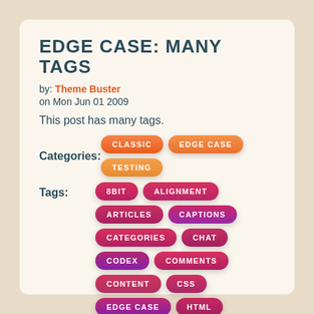EDGE CASE: MANY TAGS
by: Theme Buster
on Mon Jun 01 2009
This post has many tags.
Categories: CLASSIC   EDGE CASE   TESTING
Tags: 8BIT   ALIGNMENT   ARTICLES   CAPTIONS   CATEGORIES   CHAT   CODEX   COMMENTS   CONTENT   CSS   EDGE CASE   HTML   LAYOUT   MARKUP   TITLE